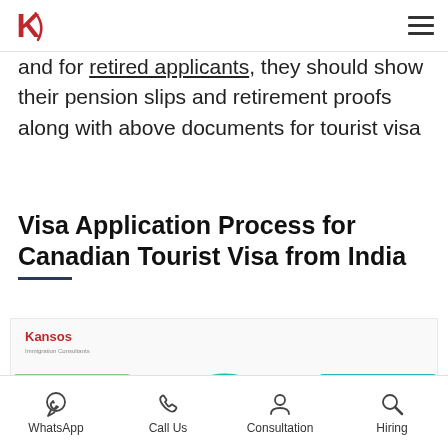Kansos logo and hamburger menu
and for retired applicants, they should show their pension slips and retirement proofs along with above documents for tourist visa
Visa Application Process for Canadian Tourist Visa from India
[Figure (infographic): Infographic showing the visa application process steps: Pay visa processing fees, Attach required documents, Submit filled application, Submit biometric data, with circular icons and Canadian maple leaf in the center. Kansos branding visible.]
WhatsApp  Call Us  Consultation  Hiring